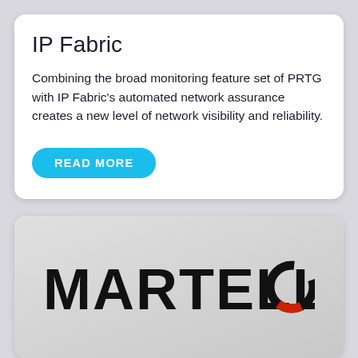IP Fabric
Combining the broad monitoring feature set of PRTG with IP Fabric's automated network assurance creates a new level of network visibility and reliability.
READ MORE
[Figure (logo): Martello logo — bold black uppercase letters MARTELLO with a red and black circular icon replacing the letter O]